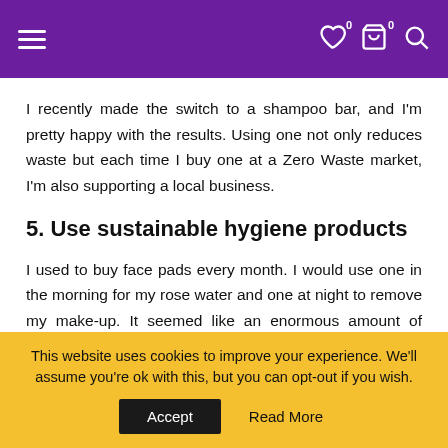Navigation bar with hamburger menu and icons (heart, cart, search)
I recently made the switch to a shampoo bar, and I'm pretty happy with the results. Using one not only reduces waste but each time I buy one at a Zero Waste market, I'm also supporting a local business.
5. Use sustainable hygiene products
I used to buy face pads every month. I would use one in the morning for my rose water and one at night to remove my make-up. It seemed like an enormous amount of waste. And they weren't cheap, either
This website uses cookies to improve your experience. We'll assume you're ok with this, but you can opt-out if you wish.